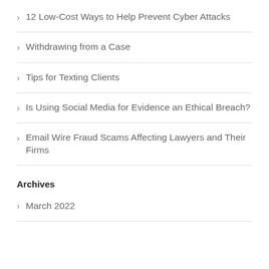12 Low-Cost Ways to Help Prevent Cyber Attacks
Withdrawing from a Case
Tips for Texting Clients
Is Using Social Media for Evidence an Ethical Breach?
Email Wire Fraud Scams Affecting Lawyers and Their Firms
Archives
March 2022